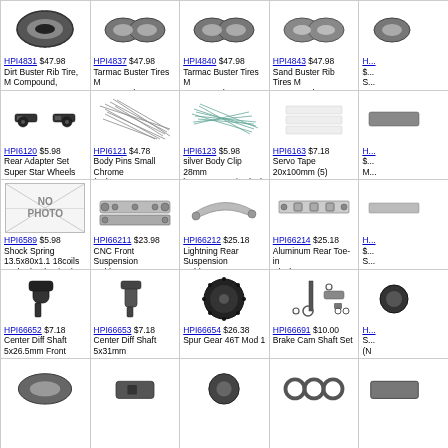HPI4831 $47.98 Dirt Buster Rib Tire, M Compound, 170x60mm, 2pcs , Baja 5b/Front
HPI4837 $47.98 Tarmac Buster Tires M Compound 170x60mm (2)
HPI4840 $47.98 Tarmac Buster Tires M Compound 170x80mm (2)
HPI4843 $47.98 Sand Buster Rib Tires M Compound 170x60mm (2)
(partial)
HPI6120 $5.98 Rear Adapter Set Super Star Wheels
HPI6121 $4.78 Body Pins Small Chrome (20)
HPI6123 $5.98 silver Body Clip 28mm long 1.5mm wire (20)
HPI6163 $7.18 Servo Tape 20x100mm (5)
(partial)
HPI6589 $5.98 Shock Spring 13.5x80x1.1 18coils Red Wheely King(2
HPI66211 $23.98 CNC Front Suspension Holder 7075
HPI66212 $25.18 Lightning Rear Suspension Holder, Cnc, 7075 Trophy
HPI66214 $25.18 Aluminum Rear Toe-in Block, 7075, 3 Degree, Lightning Series Tro
(partial)
HPI66652 $7.18 Center Diff Shaft 5x26.5mm Front WR8 Flux
HPI66653 $7.18 Center Diff Shaft 5x31mm Rear WR8 Flux
HPI66654 $26.38 Spur Gear 46T Mod 1
HPI66691 $10.00 Brake Cam Shaft Set
(partial)
(partial row 5)